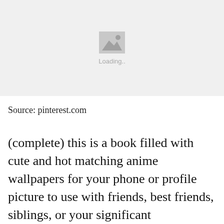[Figure (other): Image placeholder with mountain/photo icon and 'Loading..' text on a light gray background]
Source: pinterest.com
(complete) this is a book filled with cute and hot matching anime wallpapers for your phone or profile picture to use with friends, best friends, siblings, or your significant